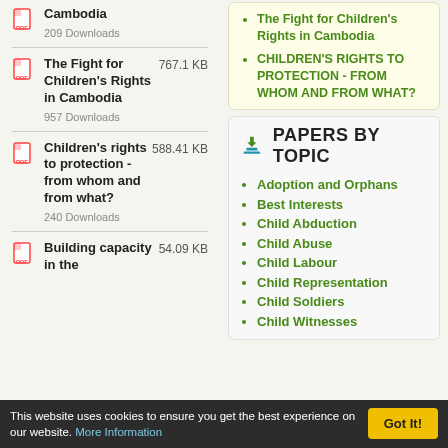Cambodia
209 Downloads
The Fight for Children's Rights in Cambodia
767.1 KB
957 Downloads
Children's rights to protection - from whom and from what?
588.41 KB
240 Downloads
Building capacity in the
54.09 KB
The Fight for Children's Rights in Cambodia
CHILDREN'S RIGHTS TO PROTECTION - FROM WHOM AND FROM WHAT?
PAPERS BY TOPIC
Adoption and Orphans
Best Interests
Child Abduction
Child Abuse
Child Labour
Child Representation
Child Soldiers
Child Witnesses
This website uses cookies to ensure you get the best experience on our website. More Information
Got It!